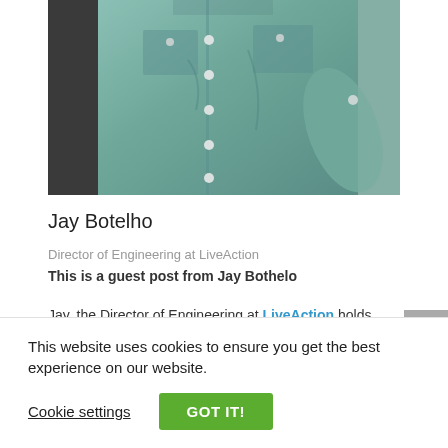[Figure (photo): Person wearing a teal/green button-up work shirt, torso and lower face visible]
Jay Botelho
Director of Engineering at LiveAction
This is a guest post from Jay Bothelo
Jay, the Director of Engineering at LiveAction holds
This website uses cookies to ensure you get the best experience on our website.
Cookie settings
GOT IT!